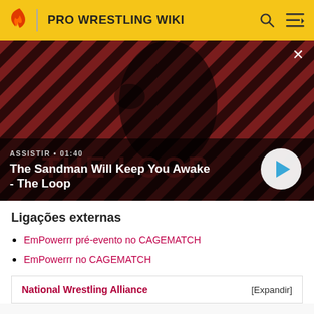PRO WRESTLING WIKI
[Figure (screenshot): Video thumbnail showing a dark figure with a raven on shoulder against a red/dark diagonal striped background. Text overlays: 'ASSISTIR • 01:40' and title 'The Sandman Will Keep You Awake - The Loop'. A circular play button is visible at lower right.]
Ligações externas
EmPowerrr pré-evento no CAGEMATCH
EmPowerrr no CAGEMATCH
National Wrestling Alliance   [Expandir]